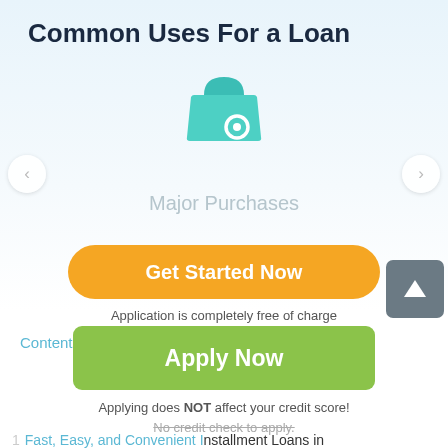Common Uses For a Loan
[Figure (illustration): Teal/green icon of a shopping bag or cart with a circle, representing major purchases]
Major Purchases
Get Started Now
Application is completely free of charge
Contents (tap to hide)
Apply Now
Applying does NOT affect your credit score!
No credit check to apply.
1  Fast, Easy, and Convenient Installment Loans in